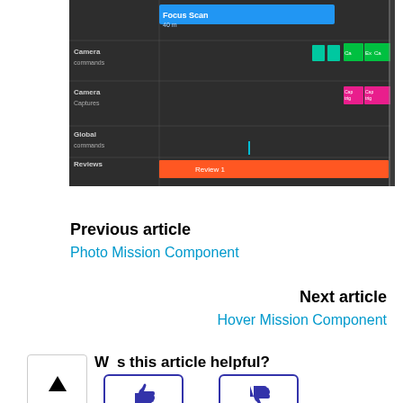[Figure (screenshot): Screenshot of a timeline/gantt-style interface on a dark background showing rows labeled Camera, Camera Captures, Global commands, and Reviews. Colored blocks in green, teal, and pink appear in grid cells. A blue bar labeled 'Focus Scan' appears at top, and an orange bar appears at the bottom row labeled Reviews.]
Previous article
Photo Mission Component
Next article
Hover Mission Component
Was this article helpful?
[Figure (other): Thumbs up button icon]
[Figure (other): Thumbs down button icon]